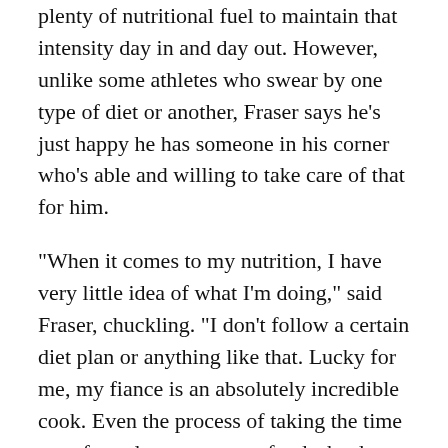plenty of nutritional fuel to maintain that intensity day in and day out. However, unlike some athletes who swear by one type of diet or another, Fraser says he's just happy he has someone in his corner who's able and willing to take care of that for him.
"When it comes to my nutrition, I have very little idea of what I'm doing," said Fraser, chuckling. "I don't follow a certain diet plan or anything like that. Lucky for me, my fiance is an absolutely incredible cook. Even the process of taking the time out of my day to prep my food, she does all of it. I'm spoiled when it comes to that."
While the intense physical training has played a big role in pushing Fraser to the top of the CrossFit world, he says his mindset, exemplified by his motto,